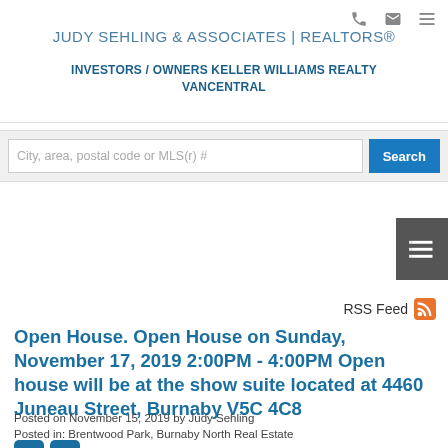JUDY SEHLING & ASSOCIATES | REALTORS®
INVESTORS / OWNERS KELLER WILLIAMS REALTY VANCENTRAL
[Figure (screenshot): Search bar with placeholder text 'City, area, postal code or MLS(r) #' and a blue Search button]
[Figure (screenshot): Sidebar toggle tab with menu icon]
RSS Feed
Open House. Open House on Sunday, November 17, 2019 2:00PM - 4:00PM Open house will be at the show suite located at 4460 Juneau Street, Burnaby V5C 4C8
Posted on November 15, 2019 by Judy Sehling
Posted in: Brentwood Park, Burnaby North Real Estate
[Figure (logo): Twitter and Facebook social media icons]